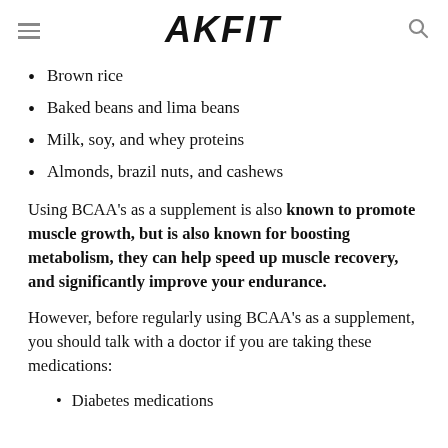AKFIT
Brown rice
Baked beans and lima beans
Milk, soy, and whey proteins
Almonds, brazil nuts, and cashews
Using BCAA’s as a supplement is also known to promote muscle growth, but is also known for boosting metabolism, they can help speed up muscle recovery, and significantly improve your endurance.
However, before regularly using BCAA’s as a supplement, you should talk with a doctor if you are taking these medications:
Diabetes medications